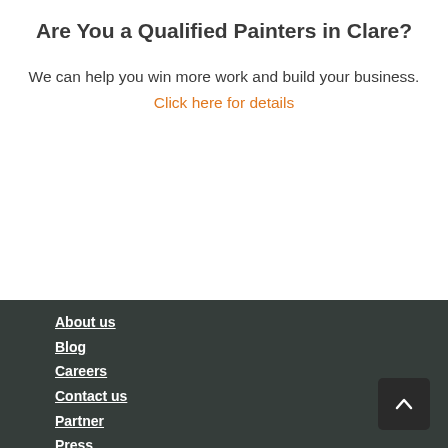Are You a Qualified Painters in Clare?
We can help you win more work and build your business.
Click here for details
About us
Blog
Careers
Contact us
Partner
Press